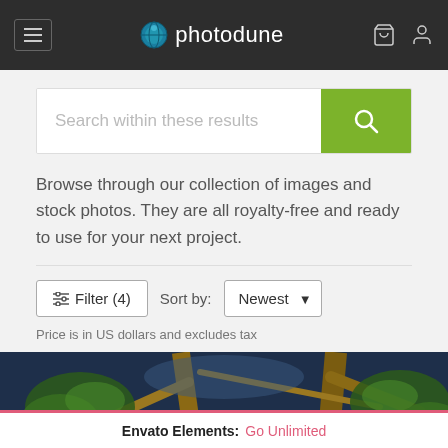photodune
[Figure (screenshot): Search bar with green search button and placeholder text 'Search within these results']
Browse through our collection of images and stock photos. They are all royalty-free and ready to use for your next project.
Filter (4)   Sort by: Newest
Price is in US dollars and excludes tax
[Figure (photo): Outdoor photo of trees with branches against a blue sky]
Envato Elements: Go Unlimited